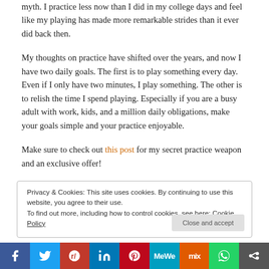myth. I practice less now than I did in my college days and feel like my playing has made more remarkable strides than it ever did back then.
My thoughts on practice have shifted over the years, and now I have two daily goals. The first is to play something every day. Even if I only have two minutes, I play something. The other is to relish the time I spend playing. Especially if you are a busy adult with work, kids, and a million daily obligations, make your goals simple and your practice enjoyable.
Make sure to check out this post for my secret practice weapon and an exclusive offer!
Privacy & Cookies: This site uses cookies. By continuing to use this website, you agree to their use.
To find out more, including how to control cookies, see here: Cookie Policy

Close and accept
[Figure (infographic): Social sharing bar with buttons for Facebook, Twitter, Reddit, LinkedIn, Pinterest, MeWe, Mix, WhatsApp, and more sharing options]